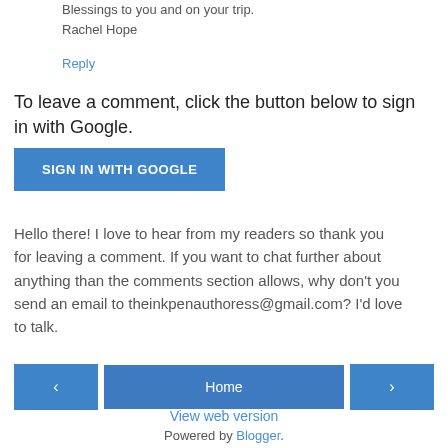Blessings to you and on your trip.
Rachel Hope
Reply
To leave a comment, click the button below to sign in with Google.
[Figure (other): Blue button labeled SIGN IN WITH GOOGLE]
Hello there! I love to hear from my readers so thank you for leaving a comment. If you want to chat further about anything than the comments section allows, why don't you send an email to theinkpenauthoress@gmail.com? I'd love to talk.
[Figure (other): Navigation bar with left arrow button, Home button, and right arrow button]
View web version
Powered by Blogger.